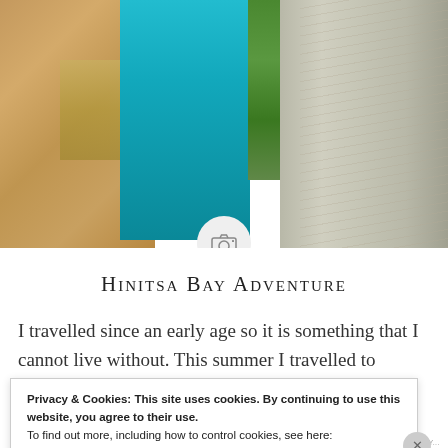[Figure (photo): Aerial view of the Corinth Canal in Greece with turquoise water cutting between steep rock walls, green vegetation along one edge, rocky cliffs on both sides]
Hinitsa Bay Adventure
I travelled since an early age so it is something that I cannot live without. This summer I travelled to Greece, one of the amazing and most
Privacy & Cookies: This site uses cookies. By continuing to use this website, you agree to their use.
To find out more, including how to control cookies, see here:
Cookie Policy
Close and accept